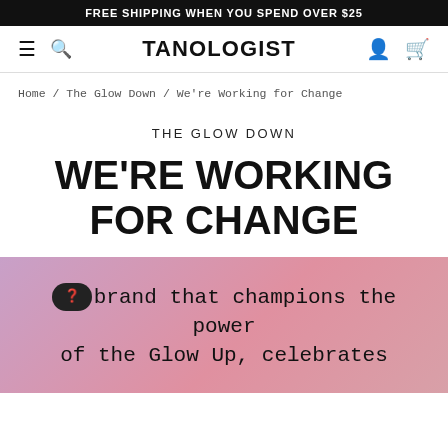FREE SHIPPING WHEN YOU SPEND OVER $25
TANOLOGIST
Home / The Glow Down / We're Working for Change
THE GLOW DOWN
WE'RE WORKING FOR CHANGE
As a brand that champions the power of the Glow Up, celebrates